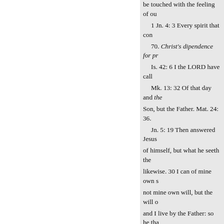be touched with the feeling of ou
1 Jn. 4: 3 Every spirit that con
70. Christ's dipendence for pr
Is. 42: 6 I the LORD have call
Mk. 13: 32 Of that day and the Son, but the Father. Mat. 24: 36.
Jn. 5: 19 Then answered Jesus of himself, but what he seeth the likewise. 30 I can of mine own s not mine own will, but the will o and I live by the Father: so he tha When ye have lifted up the Son o but as my Father hath taught me, not left me alone; for I do always Father, and the Father in me? the dwelleth in me, he doeth the wor your God.
2 Cor. 13: 4 For though he was
[See his Prayerfulness, 64.]